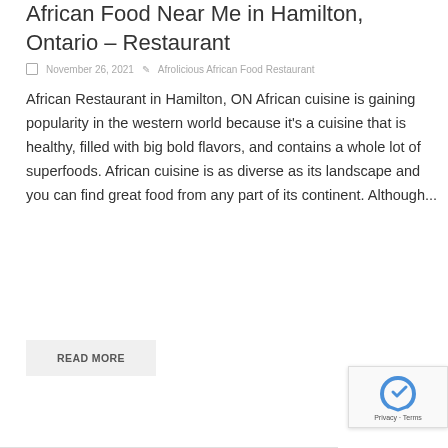African Food Near Me in Hamilton, Ontario – Restaurant
November 26, 2021   Afrolicious African Food Restaurant
African Restaurant in Hamilton, ON African cuisine is gaining popularity in the western world because it's a cuisine that is healthy, filled with big bold flavors, and contains a whole lot of superfoods. African cuisine is as diverse as its landscape and you can find great food from any part of its continent. Although...
READ MORE